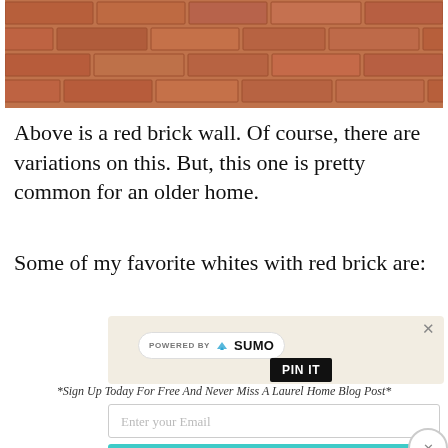[Figure (photo): Close-up photograph of a red brick wall showing weathered red and orange bricks with mortar joints]
Above is a red brick wall. Of course, there are variations on this. But, this one is pretty common for an older home.
Some of my favorite whites with red brick are:
[Figure (screenshot): Sumo email subscription widget overlay showing 'POWERED BY SUMO' badge, PIN IT button, close X button, sign-up prompt '*Sign Up Today For Free And Never Miss A Laurel Home Blog Post*', email input field, and 'Gimme The Subscription!' button in teal]